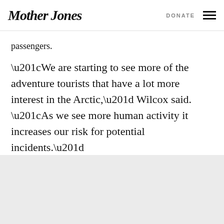Mother Jones | DONATE
passengers.
“We are starting to see more of the adventure tourists that have a lot more interest in the Arctic,” Wilcox said. “As we see more human activity it increases our risk for potential incidents.”